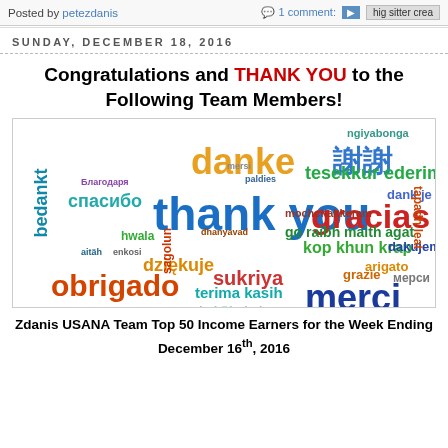Posted by petezdanis   1 comment:
SUNDAY, DECEMBER 18, 2016
Congratulations and THANK YOU to the Following Team Members!
[Figure (illustration): Word cloud showing 'thank you' in many languages including danke, gracias, merci, obrigado, spasibo, dziekuje, bedankt, tesekkur ederim, dank je, sukriya, kop khun krap, terima kasih, arigato, dakujem, mochchakkeram, go raibh maith agat, and others in various colors and sizes]
Zdanis USANA Team Top 50 Income Earners for the Week Ending December 16th, 2016